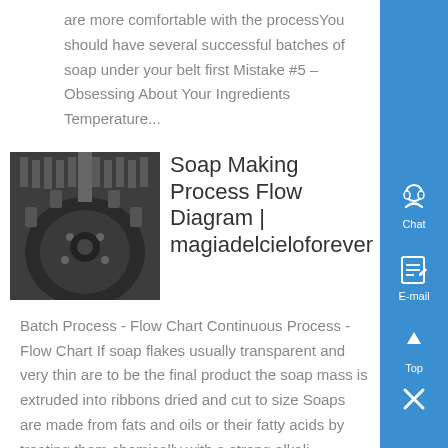are more comfortable with the processYou should have several successful batches of soap under your belt first Mistake #5 – Obsessing About Your Ingredients Temperature...
[Figure (photo): Close-up photo of industrial gear mechanism, dark metal gears and rods]
Soap Making Process Flow Diagram | magiadelcieloforever
Batch Process - Flow Chart Continuous Process - Flow Chart If soap flakes usually transparent and very thin are to be the final product the soap mass is extruded into ribbons dried and cut to size Soaps are made from fats and oils or their fatty acids by treating them chemically with a strong alkali...